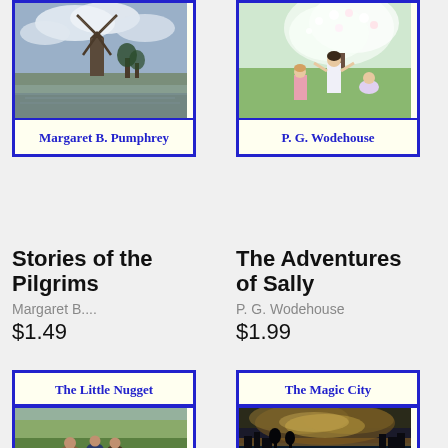[Figure (illustration): Book cover for 'Stories of the Pilgrims' by Margaret B. Pumphrey, showing a windmill and winter landscape painting]
[Figure (illustration): Book cover for 'The Adventures of Sally' by P. G. Wodehouse, showing children playing outdoors under a flowering tree]
Stories of the Pilgrims
Margaret B....
$1.49
The Adventures of Sally
P. G. Wodehouse
$1.99
[Figure (illustration): Book cover for 'The Little Nugget' by P. G. Wodehouse, showing children playing in a field]
[Figure (illustration): Book cover for 'The Magic City' by Edith Nesbit, showing a dramatic sunset over a river with silhouetted buildings]